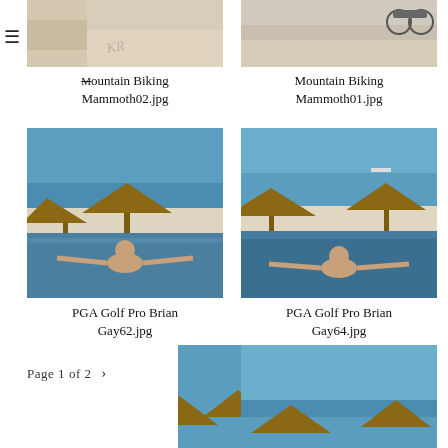[Figure (photo): Mountain biking photo (partially cropped) - Mammoth02.jpg]
[Figure (photo): Mountain biking photo - Mammoth01.jpg with motorcycle visible]
Mountain Biking Mammoth02.jpg
Mountain Biking Mammoth01.jpg
[Figure (photo): PGA Golf Pro Brian Gay at beach/pool resort - Gay62.jpg]
[Figure (photo): PGA Golf Pro Brian Gay at beach/pool resort - Gay64.jpg]
PGA Golf Pro Brian Gay62.jpg
PGA Golf Pro Brian Gay64.jpg
Page 1 of 2 >
[Figure (photo): Beach/resort photo (partially visible) bottom left]
[Figure (photo): Beach/resort photo (partially visible) bottom right]